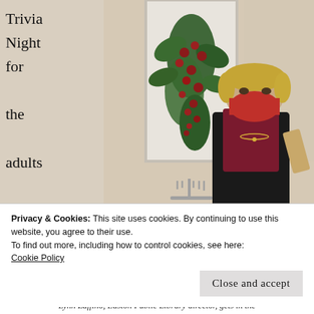Trivia Night for the adults is a new event this year,
[Figure (photo): A woman wearing a red face mask and dark jacket stands in front of a white door decorated with a large Christmas evergreen and red berry swag. She holds a wooden item and wears a gold necklace. A menorah is partially visible at the bottom center.]
Privacy & Cookies: This site uses cookies. By continuing to use this website, you agree to their use.
To find out more, including how to control cookies, see here:
Cookie Policy
Close and accept
Lynn Zaffino, Easton Public Library director, gets in the